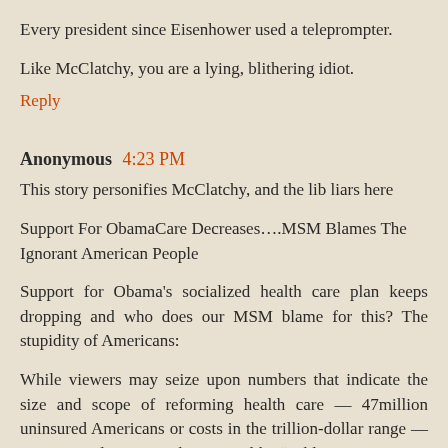Every president since Eisenhower used a teleprompter.
Like McClatchy, you are a lying, blithering idiot.
Reply
Anonymous 4:23 PM
This story personifies McClatchy, and the lib liars here
Support For ObamaCare Decreases….MSM Blames The Ignorant American People
Support for Obama's socialized health care plan keeps dropping and who does our MSM blame for this? The stupidity of Americans:
While viewers may seize upon numbers that indicate the size and scope of reforming health care — 47million uninsured Americans or costs in the trillion-dollar range — most eyes glaze over when terms like "public option" or